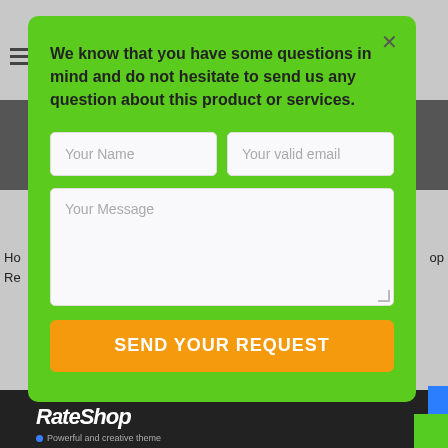[Figure (screenshot): Contact form modal popup on a green background with fields for Name, Email, Message, and a Send Your Request button]
We know that you have some questions in mind and do not hesitate to send us any question about this product or services.
Your Name
Your valid email
Your Message
SEND YOUR REQUEST